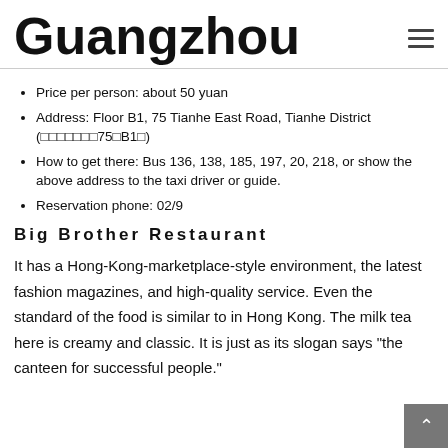Guangzhou
Price per person: about 50 yuan
Address: Floor B1, 75 Tianhe East Road, Tianhe District (□□□□□□□75□B1□)
How to get there: Bus 136, 138, 185, 197, 20, 218, or show the above address to the taxi driver or guide.
Reservation phone: 02/9
Big Brother Restaurant
It has a Hong-Kong-marketplace-style environment, the latest fashion magazines, and high-quality service. Even the standard of the food is similar to in Hong Kong. The milk tea here is creamy and classic. It is just as its slogan says "the canteen for successful people."